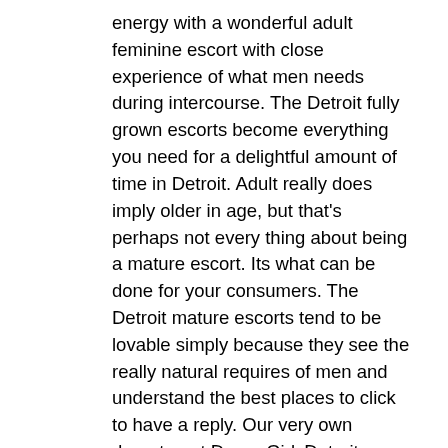energy with a wonderful adult feminine escort with close experience of what men needs during intercourse. The Detroit fully grown escorts become everything you need for a delightful amount of time in Detroit. Adult really does imply older in age, but that's perhaps not every thing about being a mature escort. Its what can be done for your consumers. The Detroit mature escorts tend to be lovable simply because they see the really natural requires of men and understand the best places to click to have a reply. Our very own department DreamGirlsDetroit supplies with mature escorts Detroit who may have had a taste with the business and know very well what boys arrive looking for in escorts. They're extremely skilled and greatest positioned to provide probably the most ridiculous needs.
Plan a secondary or a trip to Detroit and come up with a night out together with a mature Detroit escort right now to encounter outstanding minute that you know You're going to get to take pleasure